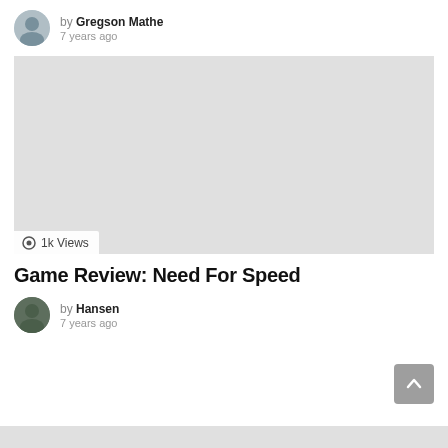by Gregson Mathe
7 years ago
[Figure (photo): Large light gray placeholder image with a views badge showing '1k Views' at the bottom left]
Game Review: Need For Speed
by Hansen
7 years ago